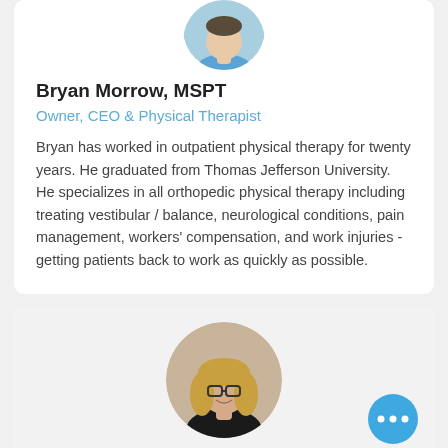[Figure (photo): Circular profile photo of Bryan Morrow, a man wearing a blue shirt, cropped at the top of the page]
Bryan Morrow, MSPT
Owner, CEO & Physical Therapist
Bryan has worked in outpatient physical therapy for twenty years. He graduated from Thomas Jefferson University. He specializes in all orthopedic physical therapy including treating vestibular / balance, neurological conditions, pain management, workers' compensation, and work injuries - getting patients back to work as quickly as possible.
[Figure (photo): Circular profile photo of a woman with glasses and blonde hair wearing a black top, partially visible in the lower card]